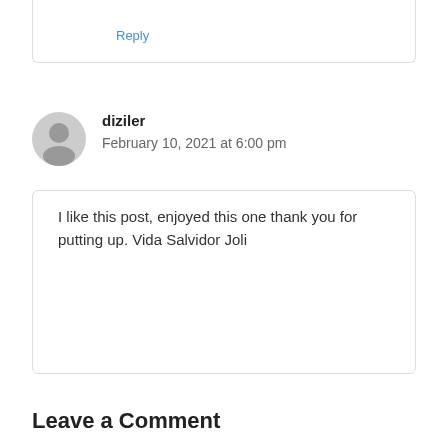Reply
diziler
February 10, 2021 at 6:00 pm
I like this post, enjoyed this one thank you for putting up. Vida Salvidor Joli
Reply
Leave a Comment